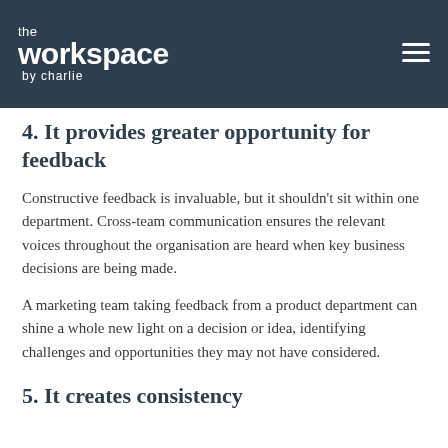the workspace by charlie
4. It provides greater opportunity for feedback
Constructive feedback is invaluable, but it shouldn’t sit within one department. Cross-team communication ensures the relevant voices throughout the organisation are heard when key business decisions are being made.
A marketing team taking feedback from a product department can shine a whole new light on a decision or idea, identifying challenges and opportunities they may not have considered.
5. It creates consistency